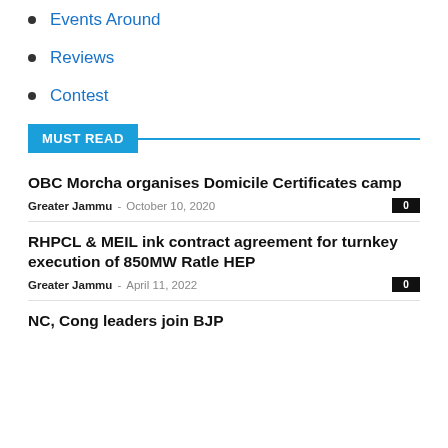Events Around
Reviews
Contest
MUST READ
OBC Morcha organises Domicile Certificates camp
Greater Jammu – October 10, 2020
RHPCL & MEIL ink contract agreement for turnkey execution of 850MW Ratle HEP
Greater Jammu – April 11, 2022
NC, Cong leaders join BJP